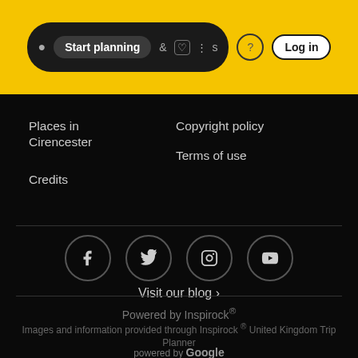Start planning · Places & Activities · ? · Log in
Places in Cirencester
Credits
Copyright policy
Terms of use
[Figure (other): Social media icons in circles: Facebook, Twitter, Instagram, YouTube]
Visit our blog ›
Powered by Inspirock®
Images and information provided through Inspirock ® United Kingdom Trip Planner
powered by Google